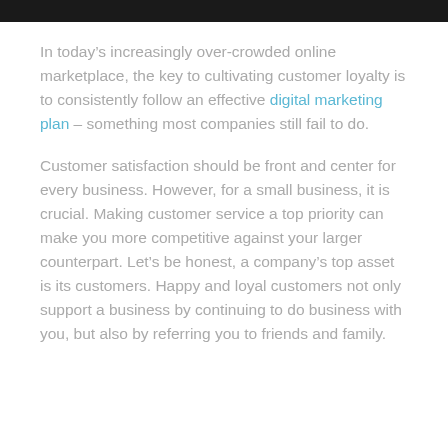[Figure (photo): Dark/black image strip at top of page, partial view of a photo]
In today’s increasingly over-crowded online marketplace, the key to cultivating customer loyalty is to consistently follow an effective digital marketing plan – something most companies still fail to do.
Customer satisfaction should be front and center for every business. However, for a small business, it is crucial. Making customer service a top priority can make you more competitive against your larger counterpart. Let’s be honest, a company’s top asset is its customers. Happy and loyal customers not only support a business by continuing to do business with you, but also by referring you to friends and family.